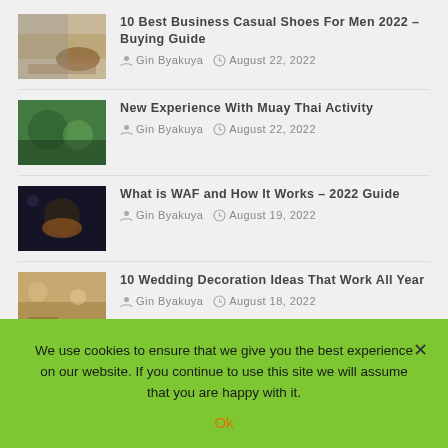10 Best Business Casual Shoes For Men 2022 – Buying Guide | Gin Byakuya | August 22, 2022
New Experience With Muay Thai Activity | Gin Byakuya | August 22, 2022
What is WAF and How It Works – 2022 Guide | Gin Byakuya | August 19, 2022
10 Wedding Decoration Ideas That Work All Year | Gin Byakuya | August 18, 2022
We use cookies to ensure that we give you the best experience on our website. If you continue to use this site we will assume that you are happy with it.
Ok